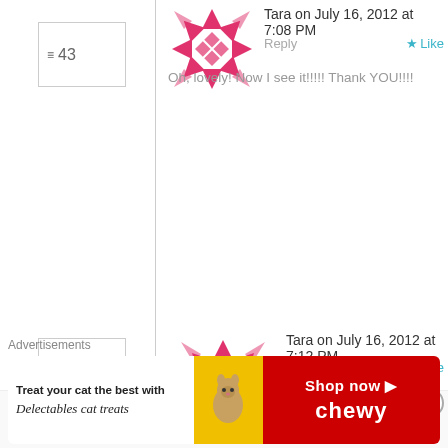≡43
[Figure (logo): Pink geometric snowflake avatar for Tara]
Tara on July 16, 2012 at 7:08 PM
Reply
★ Like
Oh, lovely! Now I see it!!!!! Thank YOU!!!!
44
[Figure (logo): Pink geometric snowflake avatar for Tara]
Tara on July 16, 2012 at 7:12 PM
Reply
★ Like
It's me again....lol...how much yogurt, and if u use Greek, is the draining necessary? I'm impatient, lol.
45
[Figure (photo): Photo of Sawsan, chef in disguise]
Sawsan@ Chef in disguise on
Advertisements
[Figure (other): Chewy advertisement: Treat your cat the best with Delectables cat treats. Shop now. Chewy.]